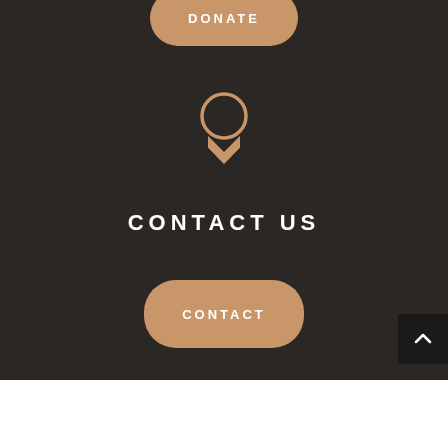[Figure (illustration): A partial donate button (rounded rectangle, tan/gold color) at top, cropped from above]
[Figure (illustration): Award/medal icon in gold outline style — a circle on top with a ribbon/chevron below]
CONTACT US
[Figure (illustration): Contact button — rounded rectangle in tan/gold color with white text CONTACT]
[Figure (illustration): Scroll-to-top button — small dark square in bottom right corner with upward chevron arrow]